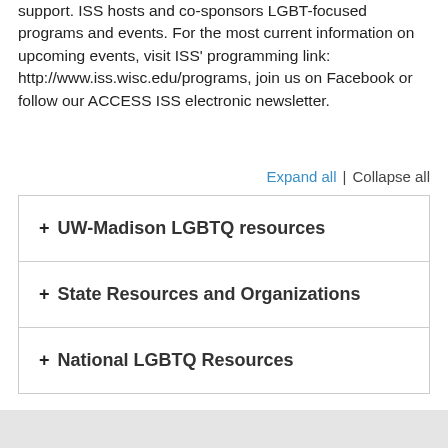support. ISS hosts and co-sponsors LGBT-focused programs and events. For the most current information on upcoming events, visit ISS' programming link: http://www.iss.wisc.edu/programs, join us on Facebook or follow our ACCESS ISS electronic newsletter.
Expand all | Collapse all
+ UW-Madison LGBTQ resources
+ State Resources and Organizations
+ National LGBTQ Resources